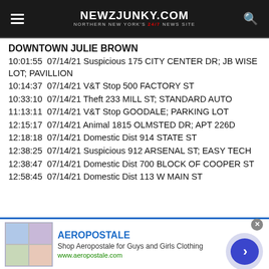NEWZJUNKY.COM — NORTHERN NEW YORK'S 24/7 NEWS SITE
DOWNTOWN JULIE BROWN
10:01:55  07/14/21 Suspicious 175 CITY CENTER DR; JB WISE LOT; PAVILLION
10:14:37  07/14/21 V&T Stop 500 FACTORY ST
10:33:10  07/14/21 Theft 233 MILL ST; STANDARD AUTO
11:13:11  07/14/21 V&T Stop GOODALE; PARKING LOT
12:15:17  07/14/21 Animal 1815 OLMSTED DR; APT 226D
12:18:18  07/14/21 Domestic Dist 914 STATE ST
12:38:25  07/14/21 Suspicious 912 ARSENAL ST; EASY TECH
12:38:47  07/14/21 Domestic Dist 700 BLOCK OF COOPER ST
12:58:45  07/14/21 Domestic Dist 113 W MAIN ST